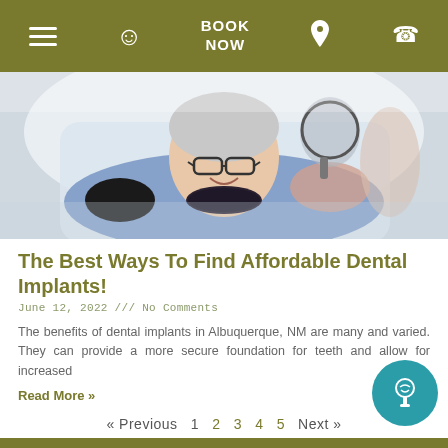Navigation bar with menu, smile icon, BOOK NOW, location pin, and phone icons
[Figure (photo): Elderly woman with glasses smiling at dental office holding a mirror, dentist in white coat standing behind her with gloved hands on her shoulders]
The Best Ways To Find Affordable Dental Implants!
June 12, 2022 /// No Comments
The benefits of dental implants in Albuquerque, NM are many and varied. They can provide a more secure foundation for teeth and allow for increased
Read More »
« Previous   1   2   3   4   5   Next »